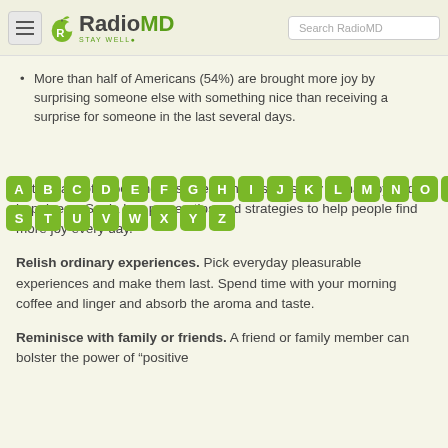RadioMD — Stay Well
More than half of Americans (54%) are brought more joy by surprising someone else with something nice than receiving a surprise for someone in the last several days.
[Figure (other): Alphabet navigation A-Z in green rounded buttons]
With years of experience as one of the first to study human joy and happiness, Sonja has proven tips and strategies to help people find more joy every day.
Relish ordinary experiences. Pick everyday pleasurable experiences and make them last. Spend time with your morning coffee and linger and absorb the aroma and taste.
Reminisce with family or friends. A friend or family member can bolster the power of "positive